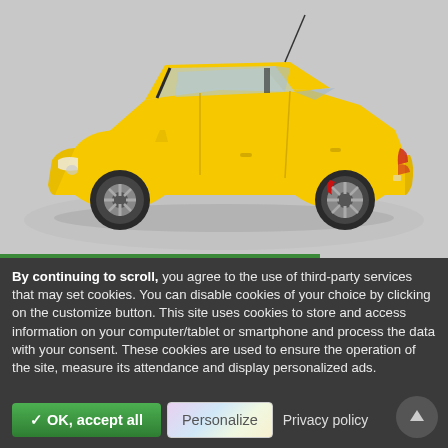[Figure (photo): Yellow SEAT Leon sport hatchback car model photographed on a light grey background, shown from a three-quarter front-left angle. The car is bright yellow with silver alloy wheels and red brake calipers.]
By continuing to scroll, you agree to the use of third-party services that may set cookies. You can disable cookies of your choice by clicking on the customize button. This site uses cookies to store and access information on your computer/tablet or smartphone and process the data with your consent. These cookies are used to ensure the operation of the site, measure its attendance and display personalized ads.
✓ OK, accept all
Personalize
Privacy policy